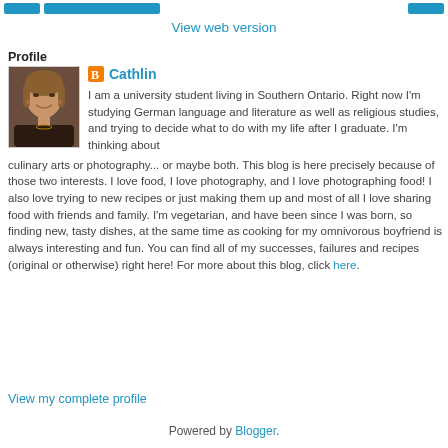View web version
Profile
[Figure (photo): Profile photo of Cathlin, a woman with short blonde/brown hair, smiling]
Cathlin
I am a university student living in Southern Ontario. Right now I'm studying German language and literature as well as religious studies, and trying to decide what to do with my life after I graduate. I'm thinking about culinary arts or photography... or maybe both. This blog is here precisely because of those two interests. I love food, I love photography, and I love photographing food! I also love trying to new recipes or just making them up and most of all I love sharing food with friends and family. I'm vegetarian, and have been since I was born, so finding new, tasty dishes, at the same time as cooking for my omnivorous boyfriend is always interesting and fun. You can find all of my successes, failures and recipes (original or otherwise) right here! For more about this blog, click here.
View my complete profile
Powered by Blogger.